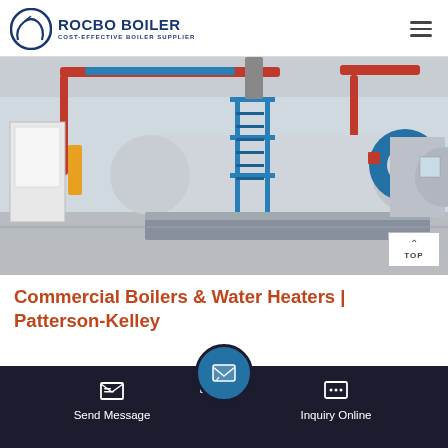ROCBO BOILER — COST-EFFECTIVE BOILER SUPPLIER
[Figure (photo): Industrial boiler room with large horizontal cylindrical boilers on blue frames, red and blue overhead pipes, in a clean white facility]
Commercial Boilers & Water Heaters | Patterson-Kelley
Send Message | Inquiry Online